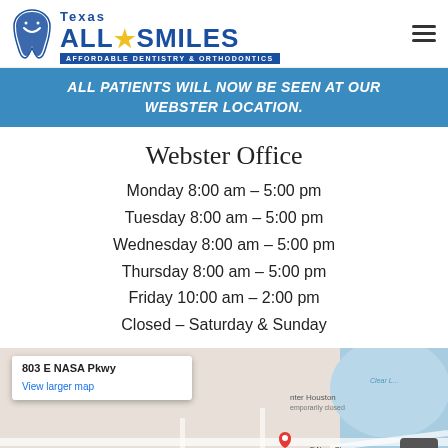[Figure (logo): Texas All Smiles logo with tooth icon and tagline 'Affordable Dentistry & Orthodontics']
ALL PATIENTS WILL NOW BE SEEN AT OUR WEBSTER LOCATION.
Webster Office
Monday 8:00 am – 5:00 pm
Tuesday 8:00 am – 5:00 pm
Wednesday 8:00 am – 5:00 pm
Thursday 8:00 am – 5:00 pm
Friday 10:00 am – 2:00 pm
Closed – Saturday & Sunday
[Figure (map): Google Maps showing 803 E NASA Pkwy, Webster TX area with map popup and red pin marker at 803 East Nasa Parkway]